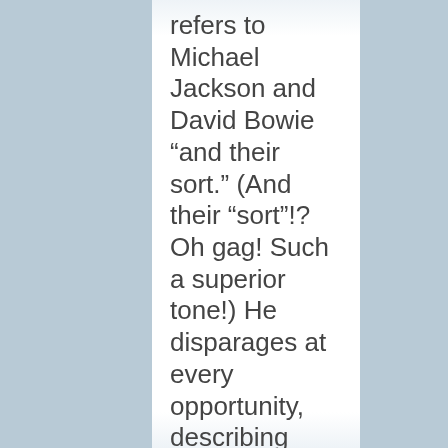refers to Michael Jackson and David Bowie “and their sort.”  (And their “sort”!?  Oh gag!  Such a superior tone!)  He disparages at every opportunity, describing things to make people (and the Church) look